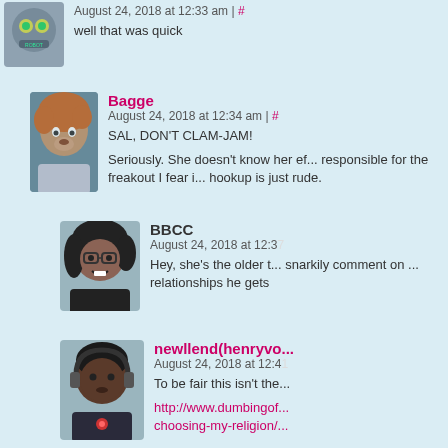August 24, 2018 at 12:33 am | #
well that was quick
Bagge
August 24, 2018 at 12:34 am | #
SAL, DON'T CLAM-JAM!
Seriously. She doesn't know her ef... responsible for the freakout I fear i... hookup is just rude.
BBCC
August 24, 2018 at 12:37
Hey, she's the older t... snarkily comment on ... relationships he gets
newllend(henryvo...
August 24, 2018 at 12:41
To be fair this isn't the... http://www.dumbingof... choosing-my-religion/...